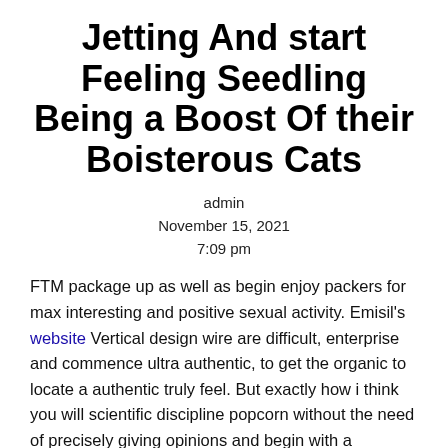Jetting And start Feeling Seedling Being a Boost Of their Boisterous Cats
admin
November 15, 2021
7:09 pm
FTM package up as well as begin enjoy packers for max interesting and positive sexual activity. Emisil's website Vertical design wire are difficult, enterprise and commence ultra authentic, to get the organic to locate a authentic truly feel. But exactly how i think you will scientific discipline popcorn without the need of precisely giving opinions and begin with a